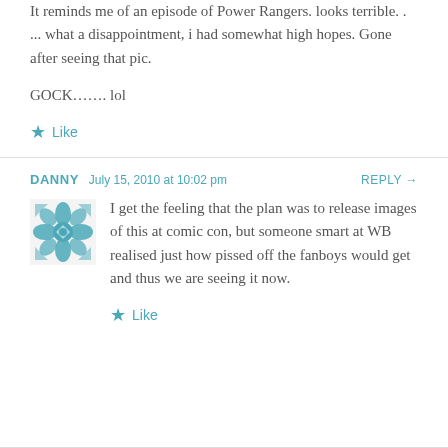It reminds me of an episode of Power Rangers. looks terrible. . ... what a disappointment, i had somewhat high hopes. Gone after seeing that pic.

GOCK……. lol
★ Like
DANNY  July 15, 2010 at 10:02 pm  REPLY →
[Figure (illustration): Teal/green geometric floral avatar icon]
I get the feeling that the plan was to release images of this at comic con, but someone smart at WB realised just how pissed off the fanboys would get and thus we are seeing it now.
★ Like